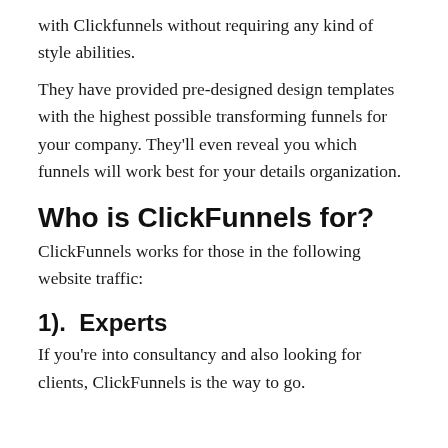with Clickfunnels without requiring any kind of style abilities.
They have provided pre-designed design templates with the highest possible transforming funnels for your company. They'll even reveal you which funnels will work best for your details organization.
Who is ClickFunnels for?
ClickFunnels works for those in the following website traffic:
1).  Experts
If you're into consultancy and also looking for clients, ClickFunnels is the way to go.